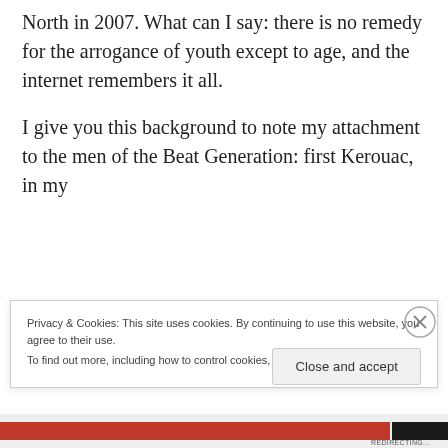North in 2007. What can I say: there is no remedy for the arrogance of youth except to age, and the internet remembers it all.
I give you this background to note my attachment to the men of the Beat Generation: first Kerouac, in my
Privacy & Cookies: This site uses cookies. By continuing to use this website, you agree to their use.
To find out more, including how to control cookies, see here: Cookie Policy
Close and accept